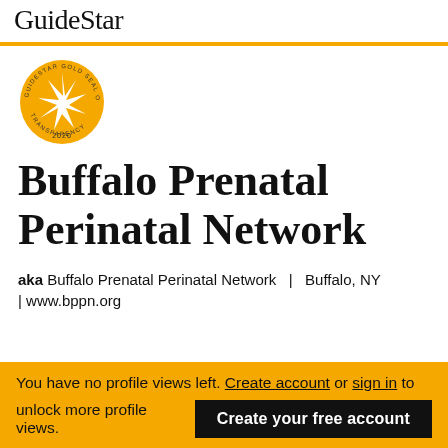GuideStar
[Figure (logo): GuideStar Gold Seal of Transparency 2020 - circular gold badge with star burst in center]
Buffalo Prenatal Perinatal Network
aka Buffalo Prenatal Perinatal Network  |  Buffalo, NY  |  www.bppn.org
You have no profile views left. Create account or sign in to unlock more profile views.
Create your free account